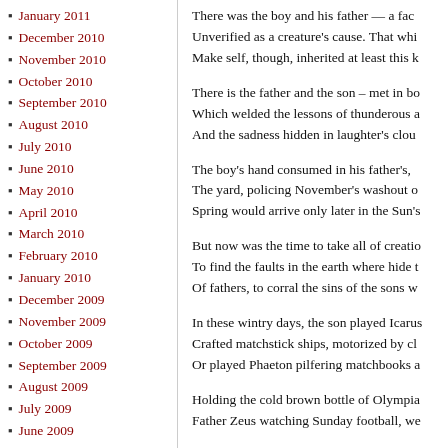January 2011
December 2010
November 2010
October 2010
September 2010
August 2010
July 2010
June 2010
May 2010
April 2010
March 2010
February 2010
January 2010
December 2009
November 2009
October 2009
September 2009
August 2009
July 2009
June 2009
May 2009
There was the boy and his father — a fac... Unverified as a creature's cause. That whi... Make self, though, inherited at least this k...
There is the father and the son – met in bo... Which welded the lessons of thunderous a... And the sadness hidden in laughter's clou...
The boy's hand consumed in his father's, ... The yard, policing November's washout o... Spring would arrive only later in the Sun's...
But now was the time to take all of creatio... To find the faults in the earth where hide t... Of fathers, to corral the sins of the sons w...
In these wintry days, the son played Icarus... Crafted matchstick ships, motorized by cl... Or played Phaeton pilfering matchbooks a...
Holding the cold brown bottle of Olympia... Father Zeus watching Sunday football, we...